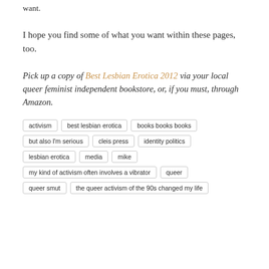want.
I hope you find some of what you want within these pages, too.
Pick up a copy of Best Lesbian Erotica 2012 via your local queer feminist independent bookstore, or, if you must, through Amazon.
activism
best lesbian erotica
books books books
but also I'm serious
cleis press
identity politics
lesbian erotica
media
mike
my kind of activism often involves a vibrator
queer
queer smut
the queer activism of the 90s changed my life